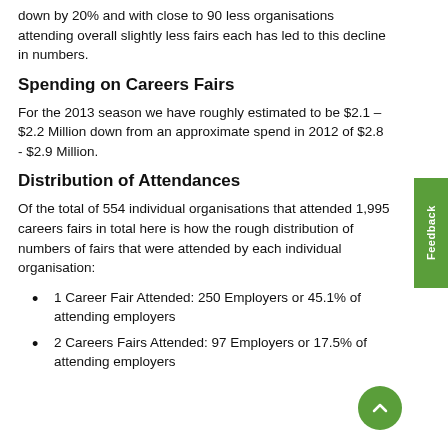down by 20% and with close to 90 less organisations attending overall slightly less fairs each has led to this decline in numbers.
Spending on Careers Fairs
For the 2013 season we have roughly estimated to be $2.1 – $2.2 Million down from an approximate spend in 2012 of $2.8 - $2.9 Million.
Distribution of Attendances
Of the total of 554 individual organisations that attended 1,995 careers fairs in total here is how the rough distribution of numbers of fairs that were attended by each individual organisation:
1 Career Fair Attended: 250 Employers or 45.1% of attending employers
2 Careers Fairs Attended: 97 Employers or 17.5% of attending employers